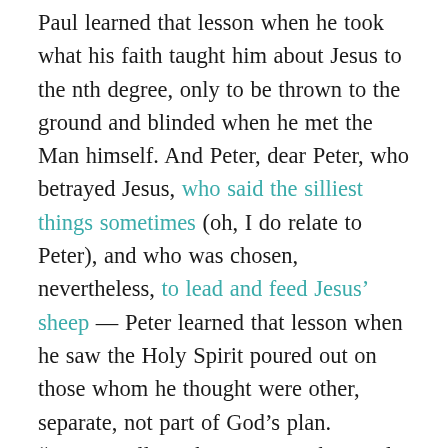Paul learned that lesson when he took what his faith taught him about Jesus to the nth degree, only to be thrown to the ground and blinded when he met the Man himself. And Peter, dear Peter, who betrayed Jesus, who said the silliest things sometimes (oh, I do relate to Peter), and who was chosen, nevertheless, to lead and feed Jesus' sheep — Peter learned that lesson when he saw the Holy Spirit poured out on those whom he thought were other, separate, not part of God's plan. “Do not call anything impure that God has made clean.”